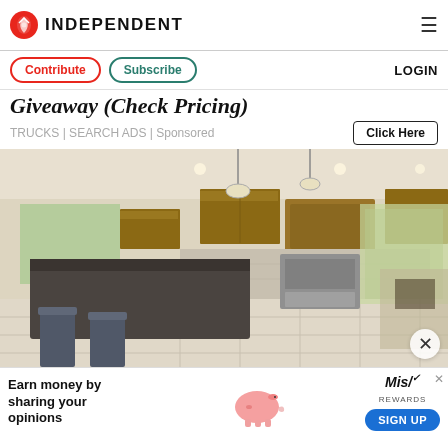INDEPENDENT
Contribute | Subscribe | LOGIN
Giveaway (Check Pricing)
TRUCKS | SEARCH ADS | Sponsored
Click Here
[Figure (photo): Interior kitchen photo showing wooden cabinets, granite countertop island with bar stools, pendant lighting, stainless steel oven, and a view into a dining area with natural light.]
Earn money by sharing your opinions
SIGN UP